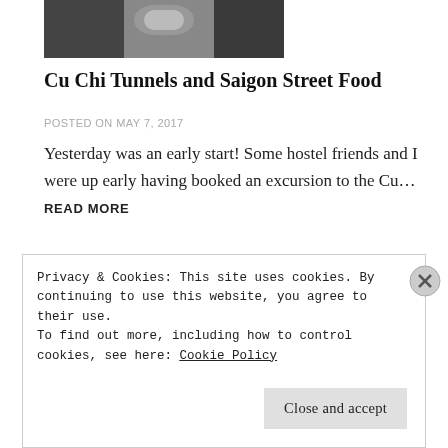[Figure (photo): Partial photo of a person holding a small bowl of food, cropped at top of page]
Cu Chi Tunnels and Saigon Street Food
POSTED ON MAY 7, 2017
Yesterday was an early start! Some hostel friends and I were up early having booked an excursion to the Cu… READ MORE
[Figure (photo): Partial image strip visible behind cookie banner]
Privacy & Cookies: This site uses cookies. By continuing to use this website, you agree to their use.
To find out more, including how to control cookies, see here: Cookie Policy